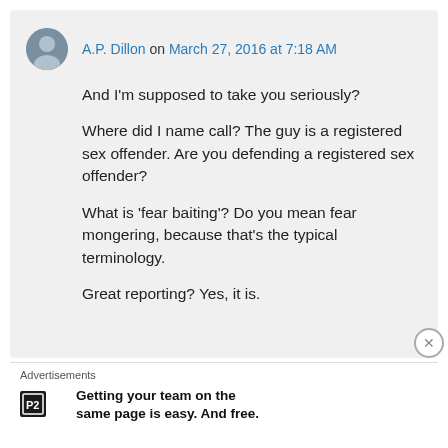A.P. Dillon on March 27, 2016 at 7:18 AM
And I'm supposed to take you seriously?

Where did I name call? The guy is a registered sex offender. Are you defending a registered sex offender?

What is 'fear baiting'? Do you mean fear mongering, because that's the typical terminology.

Great reporting? Yes, it is.
Advertisements
Getting your team on the same page is easy. And free.